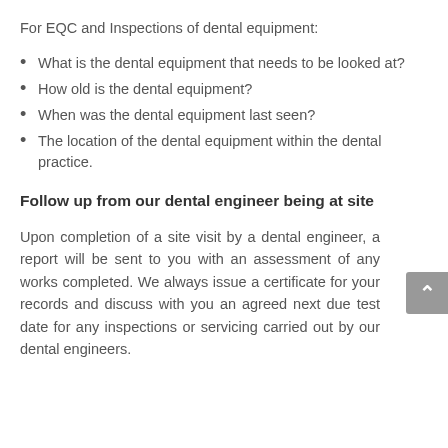For EQC and Inspections of dental equipment:
What is the dental equipment that needs to be looked at?
How old is the dental equipment?
When was the dental equipment last seen?
The location of the dental equipment within the dental practice.
Follow up from our dental engineer being at site
Upon completion of a site visit by a dental engineer, a report will be sent to you with an assessment of any works completed. We always issue a certificate for your records and discuss with you an agreed next due test date for any inspections or servicing carried out by our dental engineers.